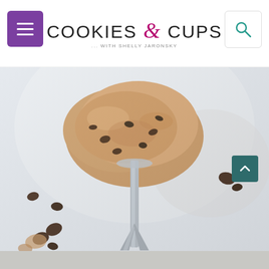[Figure (logo): Cookies & Cups website logo with menu hamburger button and search icon in header navigation bar]
[Figure (photo): Close-up photo of cookie dough with chocolate chips scooped on a metal ice cream scoop, with scattered chocolate chips on a white background]